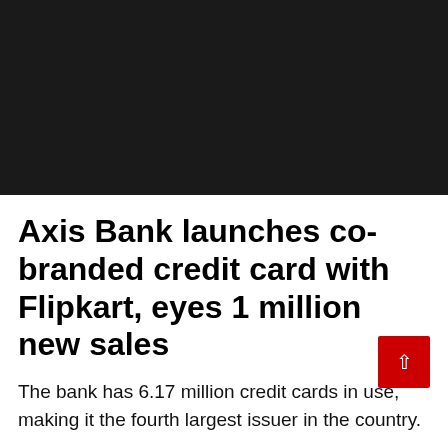Axis Bank launches co-branded credit card with Flipkart, eyes 1 million new sales
The bank has 6.17 million credit cards in use, making it the fourth largest issuer in the country.
11 Jul 2019 8:02 PM